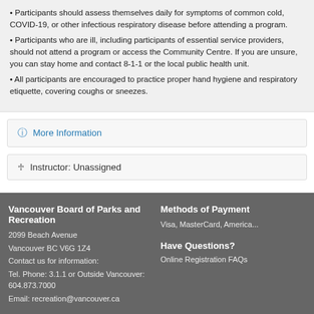• Participants should assess themselves daily for symptoms of common cold, COVID-19, or other infectious respiratory disease before attending a program. • Participants who are ill, including participants of essential service providers, should not attend a program or access the Community Centre. If you are unsure, you can stay home and contact 8-1-1 or the local public health unit. • All participants are encouraged to practice proper hand hygiene and respiratory etiquette covering coughs or sneezes.
ℹ More Information
👤 Instructor: Unassigned
Vancouver Board of Parks and Recreation
2099 Beach Avenue
Vancouver BC V6G 1Z4
Contact us for information:
Tel. Phone: 3.1.1 or Outside Vancouver: 604.873.7000
Email: recreation@vancouver.ca

Methods of Payment
Visa, MasterCard, Americ...

Have Questions?
Online Registration FAQs